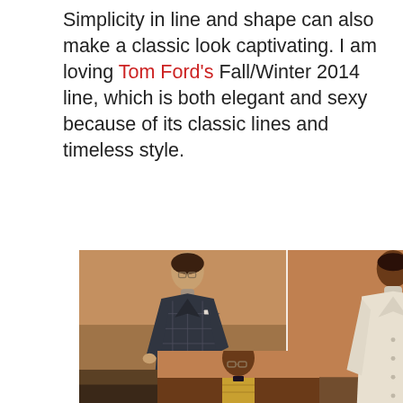Simplicity in line and shape can also make a classic look captivating. I am loving Tom Ford's Fall/Winter 2014 line, which is both elegant and sexy because of its classic lines and timeless style.
[Figure (photo): Two male fashion models photographed against a warm brown/tan background. Left model wears a dark plaid suit with turtleneck and glasses. Right model wears a cream/white long coat over a grey turtleneck sweater and grey trousers. Tom Ford Fall/Winter 2014 collection.]
[Figure (photo): Partial view of a third male fashion model against a warm brown background, cropped at the bottom of the page. Appears to be wearing glasses and a patterned jacket. Tom Ford Fall/Winter 2014 collection.]